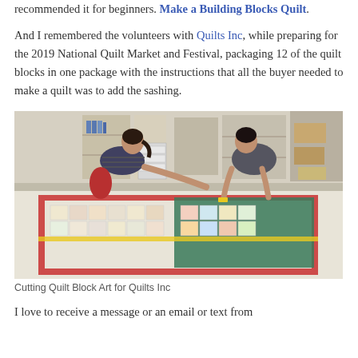recommended it for beginners. Make a Building Blocks Quilt.

And I remembered the volunteers with Quilts Inc, while preparing for the 2019 National Quilt Market and Festival, packaging 12 of the quilt blocks in one package with the instructions that all the buyer needed to make a quilt was to add the sashing.
[Figure (photo): Two women working at a large table covered with quilt block art sheets, in a workshop/storage room setting. The table has a red border mat and a green cutting mat. One woman on the left has dark hair in a ponytail wearing a striped shirt; another woman on the right wearing a dark top.]
Cutting Quilt Block Art for Quilts Inc
I love to receive a message or an email or text from